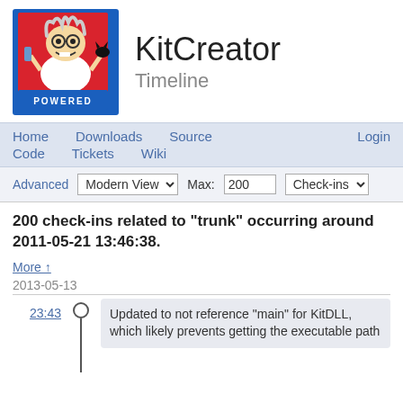[Figure (logo): KitCreator / Tcl Kit Powered logo — cartoon mad scientist on red and blue background]
KitCreator
Timeline
Home   Downloads   Source   Login
Code   Tickets   Wiki
Advanced   Modern View ▼   Max: 200   Check-ins ▼
200 check-ins related to "trunk" occurring around 2011-05-21 13:46:38.
More ↑
2013-05-13
23:43
Updated to not reference "main" for KitDLL, which likely prevents getting the executable path